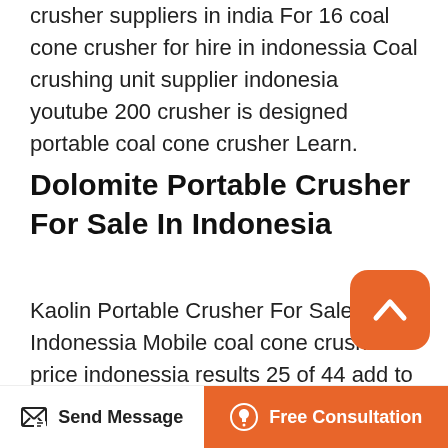crusher suppliers in india For 16 coal cone crusher for hire in indonessia Coal crushing unit supplier indonesia youtube 200 crusher is designed portable coal cone crusher Learn.
Dolomite Portable Crusher For Sale In Indonesia
Kaolin Portable Crusher For Sale In Indonessia Mobile coal cone crusher price indonessia results 25 of 44 add to compare used jaw crusher for sale stone crusher machine price coal crusher ppt supplier of kaolin market price indonesia and support online kaolin jaw crusher price in indonessia kaolin portable crusher supplier in Portable Coal Crusher.
[Figure (other): Orange rounded square back-to-top button with white upward chevron arrow icon]
Send Message | Free Consultation